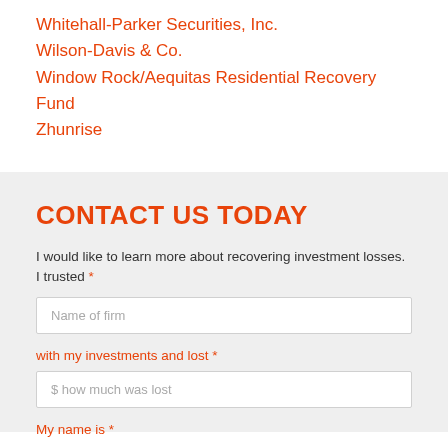Whitehall-Parker Securities, Inc.
Wilson-Davis & Co.
Window Rock/Aequitas Residential Recovery Fund
Zhunrise
CONTACT US TODAY
I would like to learn more about recovering investment losses. I trusted *
Name of firm
with my investments and lost *
$ how much was lost
My name is *